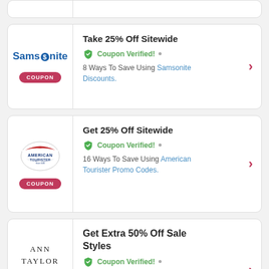[Figure (other): Partial coupon card — top of page, cut off]
[Figure (other): Samsonite coupon card: Take 25% Off Sitewide, Coupon Verified!, 8 Ways To Save Using Samsonite Discounts.]
[Figure (other): American Tourister coupon card: Get 25% Off Sitewide, Coupon Verified!, 16 Ways To Save Using American Tourister Promo Codes.]
[Figure (other): Ann Taylor coupon card (partial): Get Extra 50% Off Sale Styles, Coupon Verified!, 7 Ways To Save Using Ann Taylor...]